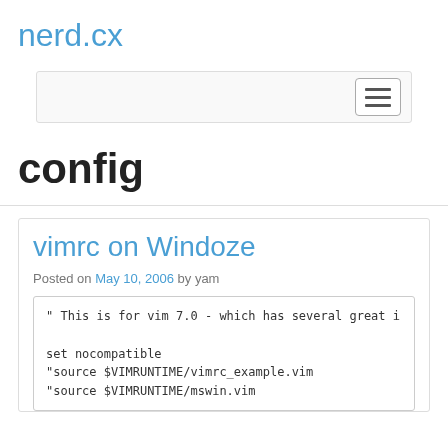nerd.cx
config
vimrc on Windoze
Posted on May 10, 2006 by yam
" This is for vim 7.0 - which has several great i
set nocompatible
"source $VIMRUNTIME/vimrc_example.vim
"source $VIMRUNTIME/mswin.vim